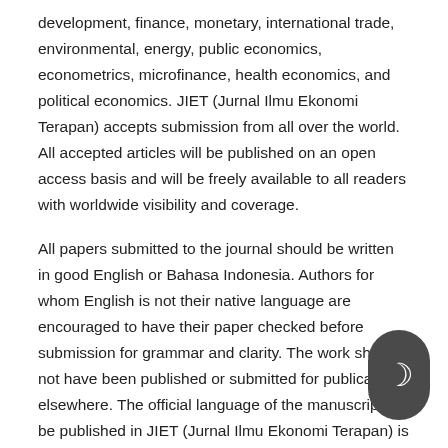development, finance, monetary, international trade, environmental, energy, public economics, econometrics, microfinance, health economics, and political economics. JIET (Jurnal Ilmu Ekonomi Terapan) accepts submission from all over the world. All accepted articles will be published on an open access basis and will be freely available to all readers with worldwide visibility and coverage.
All papers submitted to the journal should be written in good English or Bahasa Indonesia. Authors for whom English is not their native language are encouraged to have their paper checked before submission for grammar and clarity. The work should not have been published or submitted for publication elsewhere. The official language of the manuscript to be published in JIET (Jurnal Ilmu Ekonomi Terapan) is Bahasa Indonesia or English.
1. General Author Guidelines